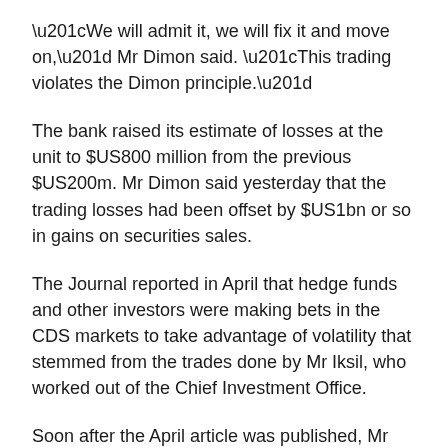“We will admit it, we will fix it and move on,” Mr Dimon said. “This trading violates the Dimon principle.”
The bank raised its estimate of losses at the unit to $US800 million from the previous $US200m. Mr Dimon said yesterday that the trading losses had been offset by $US1bn or so in gains on securities sales.
The Journal reported in April that hedge funds and other investors were making bets in the CDS markets to take advantage of volatility that stemmed from the trades done by Mr Iksil, who worked out of the Chief Investment Office.
Soon after the April article was published, Mr Dimon said on the company’s earnings call that questions about the office’s trading were “a complete tempest in a teapot”.
“Every bank has a major portfolio,” he said on the April 13…